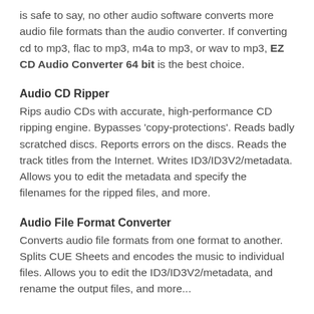is safe to say, no other audio software converts more audio file formats than the audio converter. If converting cd to mp3, flac to mp3, m4a to mp3, or wav to mp3, EZ CD Audio Converter 64 bit is the best choice.
Audio CD Ripper
Rips audio CDs with accurate, high-performance CD ripping engine. Bypasses 'copy-protections'. Reads badly scratched discs. Reports errors on the discs. Reads the track titles from the Internet. Writes ID3/ID3V2/metadata. Allows you to edit the metadata and specify the filenames for the ripped files, and more.
Audio File Format Converter
Converts audio file formats from one format to another. Splits CUE Sheets and encodes the music to individual files. Allows you to edit the ID3/ID3V2/metadata, and rename the output files, and more...